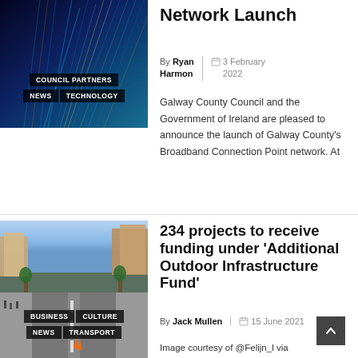[Figure (photo): Abstract fiber optic or technology light streaks on dark blue background with tags: COUNCIL PARTNERS, NEWS, TECHNOLOGY]
Network Launch
By Ryan Harmon | 3 February 2022
Galway County Council and the Government of Ireland are pleased to announce the launch of Galway County's Broadband Connection Point network. At
[Figure (photo): Street scene with pedestrians and vehicles, tagged: BUSINESS, CULTURE, NEWS, TRANSPORT]
234 projects to receive funding under 'Additional Outdoor Infrastructure Fund'
By Jack Mullen | 15 June 2021
Image courtesy of @Felijn_l via